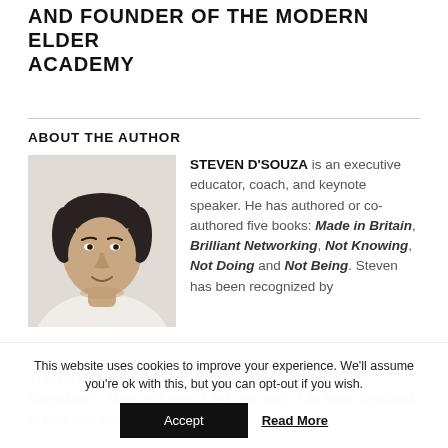AND FOUNDER OF THE MODERN ELDER ACADEMY
ABOUT THE AUTHOR
[Figure (photo): Black and white headshot of Steven D'Souza, a man with short dark hair, smiling slightly, wearing a light-colored top]
STEVEN D'SOUZA is an executive educator, coach, and keynote speaker. He has authored or co-authored five books: Made in Britain, Brilliant Networking, Not Knowing, Not Doing and Not Being. Steven has been recognized by Thinkers50 on its RADAR list and was included in HR Magazine's 'Most Influential' list. His work has been featured in national and international media, including
This website uses cookies to improve your experience. We'll assume you're ok with this, but you can opt-out if you wish.